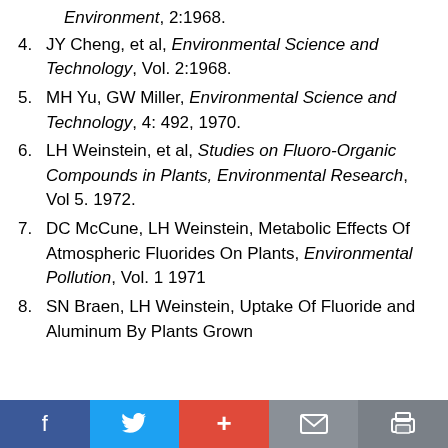(continuation) Environment, 2:1968.
4. JY Cheng, et al, Environmental Science and Technology, Vol. 2:1968.
5. MH Yu, GW Miller, Environmental Science and Technology, 4: 492, 1970.
6. LH Weinstein, et al, Studies on Fluoro-Organic Compounds in Plants, Environmental Research, Vol 5. 1972.
7. DC McCune, LH Weinstein, Metabolic Effects Of Atmospheric Fluorides On Plants, Environmental Pollution, Vol. 1 1971
8. SN Braen, LH Weinstein, Uptake Of Fluoride and Aluminum By Plants Grown